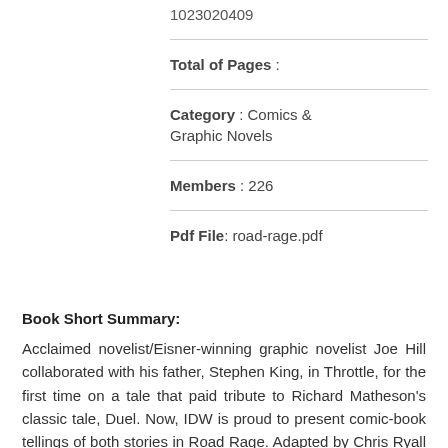1023020409
Total of Pages :
Category : Comics & Graphic Novels
Members : 226
Pdf File: road-rage.pdf
Book Short Summary:
Acclaimed novelist/Eisner-winning graphic novelist Joe Hill collaborated with his father, Stephen King, in Throttle, for the first time on a tale that paid tribute to Richard Matheson's classic tale, Duel. Now, IDW is proud to present comic-book tellings of both stories in Road Rage. Adapted by Chris Ryall with art by